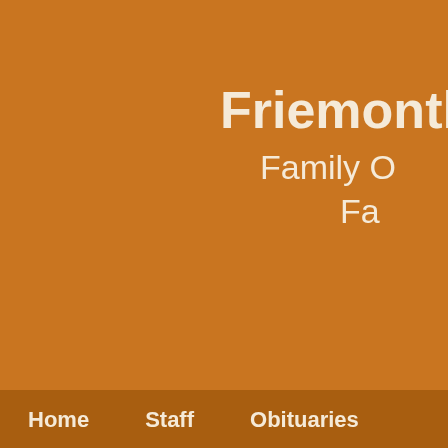Friemonth Family O Fa
Home  Staff  Obituaries
Obituary for
September 06,19
Visitation
N
Funeral
A Celebration of Life Gathering will be at the corner of S. Main and Morrison at